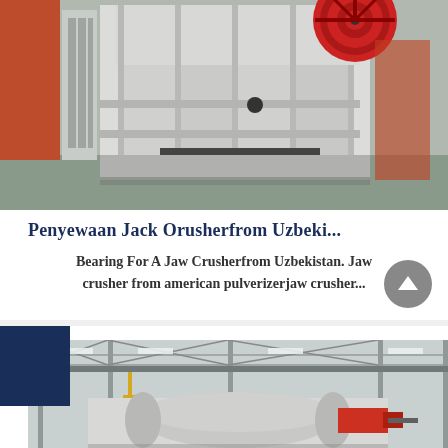[Figure (photo): Industrial jaw crusher machine in a factory setting, white/cream colored heavy equipment with red flywheel visible at top, multiple units lined up on factory floor]
Penyewaan Jack Orusherfrom Uzbeki...
Bearing For A Jaw Crusherfrom Uzbekistan. Jaw crusher from american pulverizerjaw crusher...
[Figure (photo): Industrial crushing equipment inside a factory warehouse, showing overhead crane system and large milling/grinding machinery]